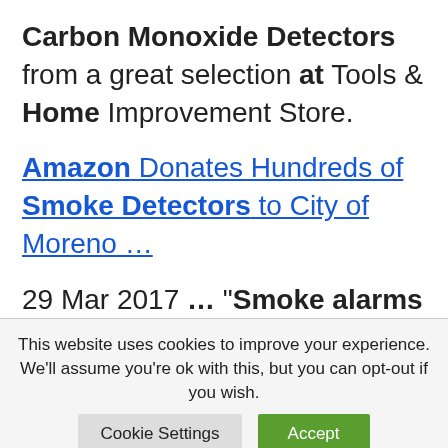Carbon Monoxide Detectors from a great selection at Tools & Home Improvement Store.
Amazon Donates Hundreds of Smoke Detectors to City of Moreno ...
29 Mar 2017 … "Smoke alarms are a key part of home fire safety," said Moreno Valley City Fire Marshal Adria Reinertson. "When there is a fire, smoke spreads ...
This website uses cookies to improve your experience. We'll assume you're ok with this, but you can opt-out if you wish.